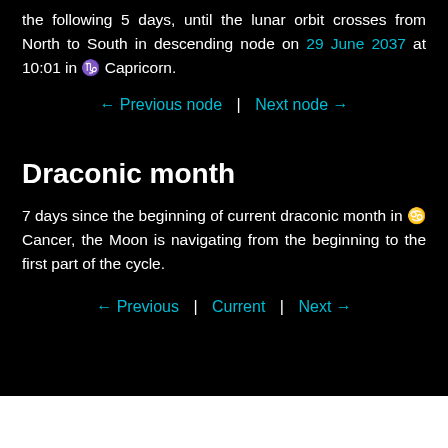the following 5 days, until the lunar orbit crosses from North to South in descending node on 29 June 2037 at 10:01 in ♑ Capricorn.
← Previous node | Next node →
Draconic month
7 days since the beginning of current draconic month in ♋ Cancer, the Moon is navigating from the beginning to the first part of the cycle.
← Previous | Current | Next →